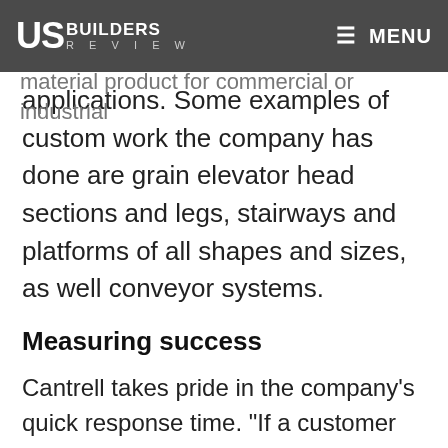US BUILDERS REVIEW  ≡ MENU
company will also coat, paint and install the material product for commercial or industrial applications. Some examples of custom work the company has done are grain elevator head sections and legs, stairways and platforms of all shapes and sizes, as well conveyor systems.
Measuring success
Cantrell takes pride in the company’s quick response time. “If a customer calls us we’re right there,” explains Cantrell. “I strive on the philosophy of being there immediately once you get that call. Our quality of work creates our repeat customers.”